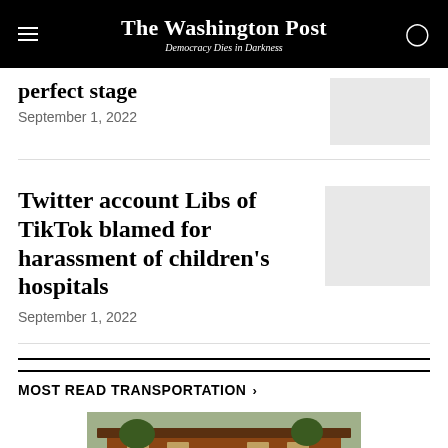The Washington Post — Democracy Dies in Darkness
perfect stage
September 1, 2022
Twitter account Libs of TikTok blamed for harassment of children's hospitals
September 1, 2022
MOST READ TRANSPORTATION
[Figure (photo): Exterior photo of a brick building with trees and wooden architectural elements]